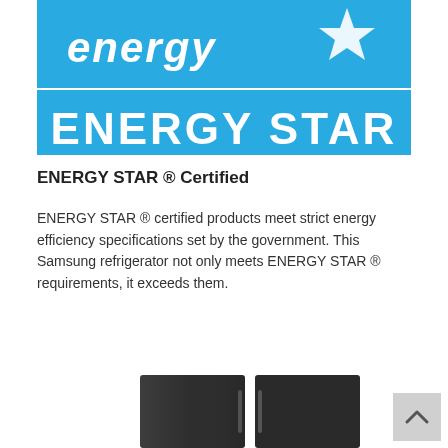[Figure (logo): ENERGY STAR logo — blue rectangle with white script 'energy' and star graphic on top, and white bold text 'ENERGY STAR' on lower blue rectangle]
ENERGY STAR ® Certified
ENERGY STAR ® certified products meet strict energy efficiency specifications set by the government. This Samsung refrigerator not only meets ENERGY STAR ® requirements, it exceeds them.
[Figure (photo): Partial bottom view of a Samsung stainless steel side-by-side refrigerator]